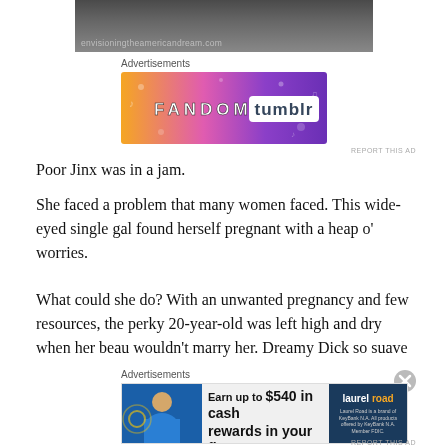[Figure (photo): Top portion of a photo, showing dark clothing/suit, with watermark text 'envisioningtheamericandream.com']
Advertisements
[Figure (screenshot): Fandom on Tumblr advertisement banner with colorful purple-orange gradient background and text 'FANDOM ON tumblr']
REPORT THIS AD
Poor Jinx was in a jam.
She faced a problem that many women faced. This wide-eyed single gal found herself pregnant with a heap o' worries.
What could she do? With an unwanted pregnancy and few resources, the perky 20-year-old was left high and dry when her beau wouldn't marry her. Dreamy Dick so suave
Advertisements
[Figure (screenshot): Laurel Road Loyalty Checking advertisement: 'Earn up to $540 in cash rewards in your first year.' with photo of man on left and Laurel Road logo on right]
REPORT THIS AD